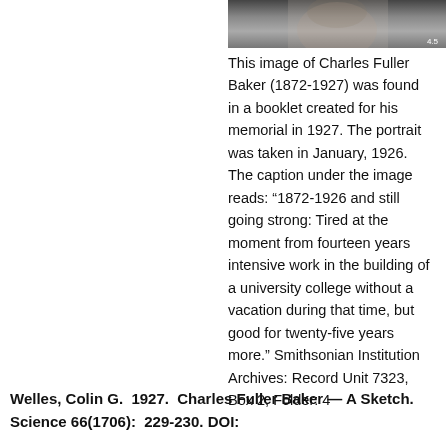[Figure (photo): Partial black and white photograph of Charles Fuller Baker, cropped at top of page]
This image of Charles Fuller Baker (1872-1927) was found in a booklet created for his memorial in 1927. The portrait was taken in January, 1926. The caption under the image reads: “1872-1926 and still going strong: Tired at the moment from fourteen years intensive work in the building of a university college without a vacation during that time, but good for twenty-five years more.” Smithsonian Institution Archives: Record Unit 7323, Box 2, Folder: 4
Welles, Colin G.  1927.  Charles Fuller Baker — A Sketch.  Science 66(1706):  229-230. DOI: